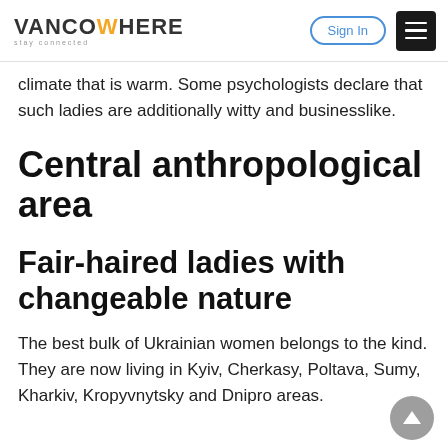VANCOWHERE stay connected | Sign In | Menu
climate that is warm. Some psychologists declare that such ladies are additionally witty and businesslike.
Central anthropological area
Fair-haired ladies with changeable nature
The best bulk of Ukrainian women belongs to the kind. They are now living in Kyiv, Cherkasy, Poltava, Sumy, Kharkiv, Kropyvnytsky and Dnipro areas.